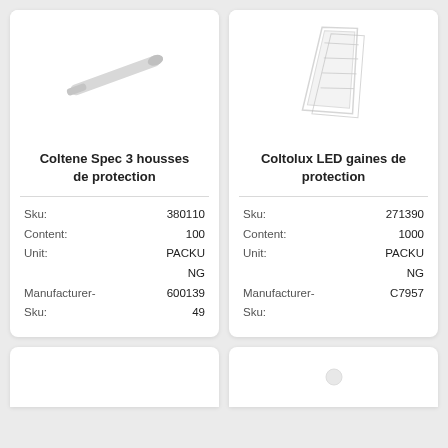[Figure (photo): Photo of Coltene Spec 3 protective covers - a flat spatula-like tool on white background]
Coltene Spec 3 housses de protection
| Sku: | 380110 |
| Content: | 100 |
| Unit: | PACKAGING |
| Manufacturer-Sku: | 60013949 |
[Figure (photo): Photo of Coltolux LED protective sheaths - transparent plastic bag/sheath on white background]
Coltolux LED gaines de protection
| Sku: | 271390 |
| Content: | 1000 |
| Unit: | PACKAGING |
| Manufacturer-Sku: | C7957 |